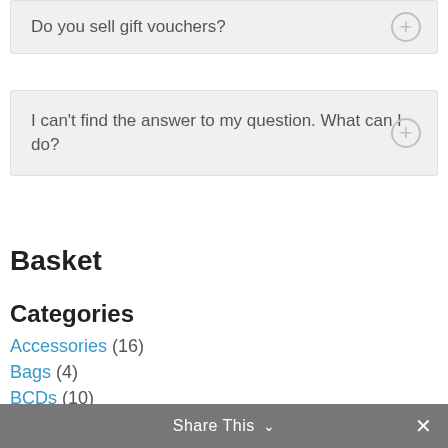Do you sell gift vouchers?
I can't find the answer to my question. What can I do?
Basket
Categories
Accessories (16)
Bags (4)
BCDs (10)
Beaver (9)
beuchat (3)
Share This ∨  ✕